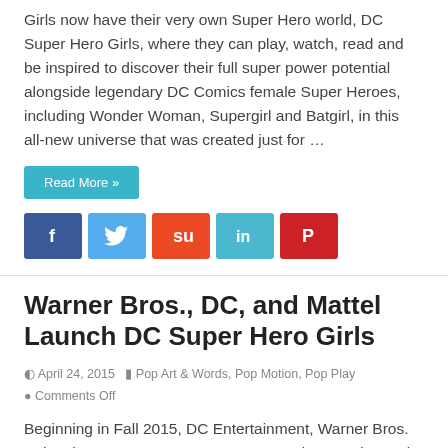Girls now have their very own Super Hero world, DC Super Hero Girls, where they can play, watch, read and be inspired to discover their full super power potential alongside legendary DC Comics female Super Heroes, including Wonder Woman, Supergirl and Batgirl, in this all-new universe that was created just for …
Read More »
[Figure (infographic): Row of social media share buttons: Facebook (blue), Twitter (light blue), StumbleUpon (orange-red), LinkedIn (teal), Pinterest (red)]
Warner Bros., DC, and Mattel Launch DC Super Hero Girls
April 24, 2015  Pop Art & Words, Pop Motion, Pop Play  Comments Off
Beginning in Fall 2015, DC Entertainment, Warner Bros. Animation, Warner Bros. Consumer Products and Mattel join forces to launchDC Super Hero Girls, an exciting new universe of Super Heroic storytelling that helps build character and confidence, and empowers girls to discover their true potential.  Featuring DC Comics' most powerful and …